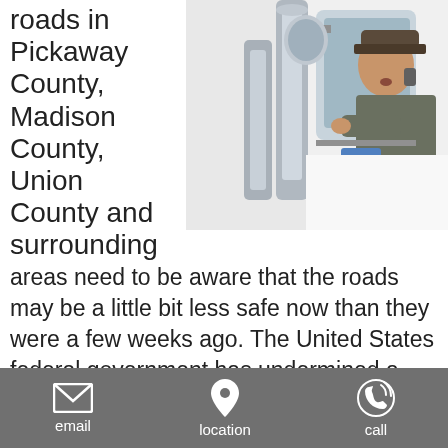roads in Pickaway County, Madison County, Union County and surrounding areas need to be aware that the roads may be a little bit less safe now than they were a few weeks ago. The United States federal government has undermined a rule that was designed to keep overtired truckers from getting behind the wheel. Tired truckers are a significant risk on the roads and victims who are hurt or who lose loved ones in a crash with a fatigued trucker should consult with truck
[Figure (photo): A truck driver leaning out of the cab window, talking on a phone, with chrome exhaust stacks visible]
email   location   call